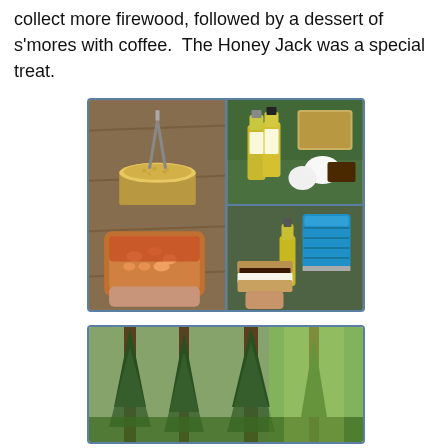collect more firewood, followed by a dessert of s'mores with coffee.  The Honey Jack was a special treat.
[Figure (photo): A 2x2 collage of camping food photos: top-left shows couscous in a camp pot with tongs on a wooden surface; top-right shows mini Jack Daniel's Honey bottles, marshmallows, graham crackers, and chocolate in bags; bottom-right shows a s'more being held with a blue collapsible cup and a small liquor bottle in the background; the left photo spans both rows showing baked beans being poured from a pouch on a wooden surface.]
[Figure (photo): A forest scene with tall conifer trees and green foliage, appearing to be taken from a campsite looking into the woods.]